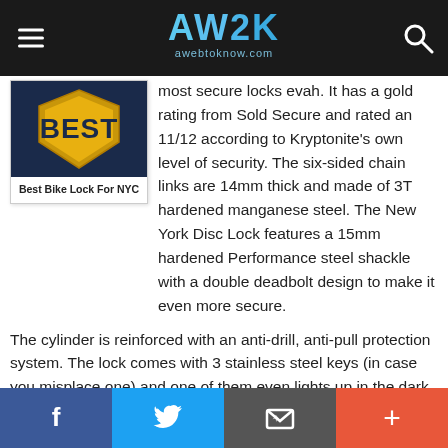AW2K awebtoknow.com
[Figure (illustration): Best badge logo with shield/ribbon design on dark blue background, labeled 'Best Bike Lock For NYC']
Best Bike Lock For NYC
most secure locks evah. It has a gold rating from Sold Secure and rated an 11/12 according to Kryptonite's own level of security. The six-sided chain links are 14mm thick and made of 3T hardened manganese steel. The New York Disc Lock features a 15mm hardened Performance steel shackle with a double deadbolt design to make it even more secure.
The cylinder is reinforced with an anti-drill, anti-pull protection system. The lock comes with 3 stainless steel keys (in case you misplace one) and one of them even lights up in the dark. However, this bike lock is very heavy at more than 15
Facebook Twitter Email Plus